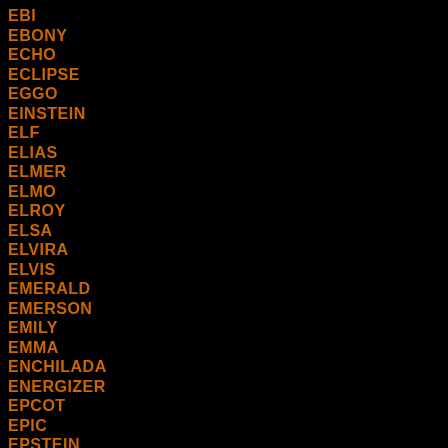EBI
EBONY
ECHO
ECLIPSE
EGGO
EINSTEIN
ELF
ELIAS
ELMER
ELMO
ELROY
ELSA
ELVIRA
ELVIS
EMERALD
EMERSON
EMILY
EMMA
ENCHILADA
ENERGIZER
EPCOT
EPIC
EPSTEIN
EQUITY
ERROL